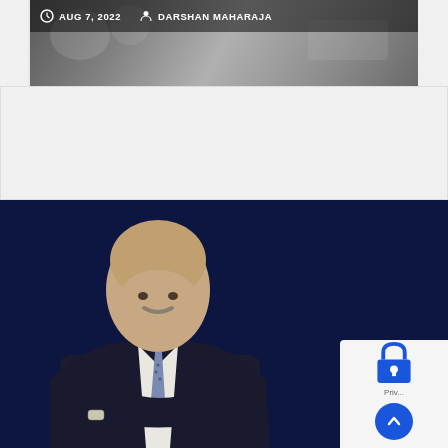[Figure (photo): Top banner image showing a blurred scene with a clock icon and author metadata bar reading 'AUG 7, 2022' and 'DARSHAN MAHARAJA']
AUG 7, 2022   DARSHAN MAHARAJA
[Figure (photo): Professional portrait photo of a bald middle-aged man with a mustache, wearing a dark suit with a patterned tie, arms crossed, on a dark navy background]